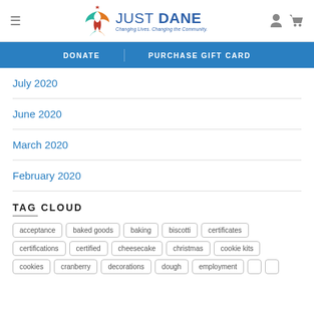JUST DANE — Changing Lives. Changing the Community.
DONATE   PURCHASE GIFT CARD
July 2020
June 2020
March 2020
February 2020
TAG CLOUD
acceptance  baked goods  baking  biscotti  certificates  certifications  certified  cheesecake  christmas  cookie kits  cookies  cranberry  decorations  dough  employment